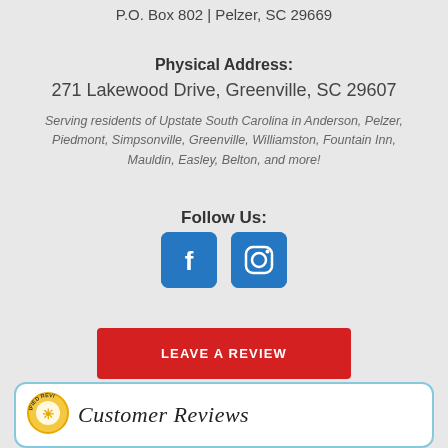P.O. Box 802 | Pelzer, SC 29669
Physical Address:
271 Lakewood Drive, Greenville, SC 29607
Serving residents of Upstate South Carolina in Anderson, Pelzer, Piedmont, Simpsonville, Greenville, Williamston, Fountain Inn, Mauldin, Easley, Belton, and more!
Follow Us:
[Figure (infographic): Two blue square social media icon buttons: Facebook (f) and Instagram (camera icon), side by side]
[Figure (infographic): Red button with white uppercase text: LEAVE A REVIEW]
[Figure (infographic): White rounded box with light blue border, containing a sun/badge graphic on the left and the text 'Customer Reviews' in italic serif font]